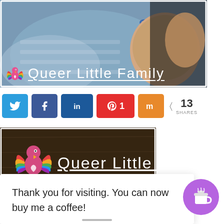[Figure (photo): Sleeping newborn baby in blue striped onesie, partially cropped. Overlay shows 'Queer Little Family' blog logo and text at bottom left.]
[Figure (infographic): Social sharing buttons row: Twitter (blue), Facebook (dark blue), LinkedIn (blue), Pinterest (red, count 1), Mix (orange), and share count showing 13 SHARES.]
[Figure (photo): Queer Little Family blog logo banner — rainbow parrot mascot with text 'Queer Little Family' on dark wood background.]
Thank you for visiting. You can now buy me a coffee!